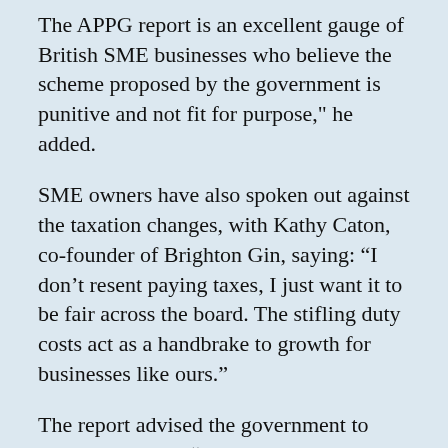The APPG report is an excellent gauge of British SME businesses who believe the scheme proposed by the government is punitive and not fit for purpose," he added.
SME owners have also spoken out against the taxation changes, with Kathy Caton, co-founder of Brighton Gin, saying: “I don’t resent paying taxes, I just want it to be fair across the board. The stifling duty costs act as a handbrake to growth for businesses like ours.”
The report advised the government to come up with an “alternative solution which is implementable and not drown SMEs in costly new red tape and administrative burdens”, and to offer support to smaller producers “irrespective of the alcoholic strength of the finished product”.
It concluded: “The government should recognise that the current proposal does not achieve its own